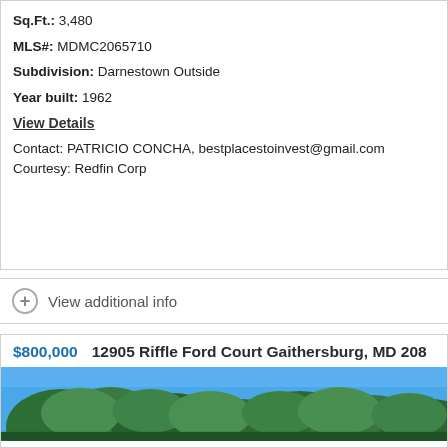Sq.Ft.: 3,480
MLS#: MDMC2065710
Subdivision: Darnestown Outside
Year built: 1962
View Details
Contact: PATRICIO CONCHA, bestplacestoinvest@gmail.com
Courtesy: Redfin Corp
View additional info
$800,000  12905 Riffle Ford Court Gaithersburg, MD 208
[Figure (photo): Exterior photo of a house with large trees in the foreground and blue sky in the background]